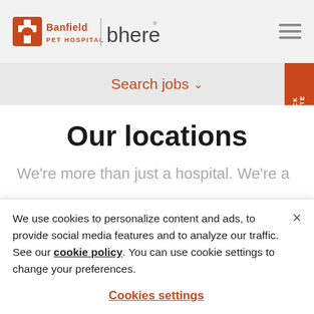[Figure (logo): Banfield Pet Hospital logo with orange cross and dog silhouette, followed by a vertical divider and 'bhere' text logo in dark gray]
[Figure (other): Hamburger menu icon (three horizontal gray lines)]
Search jobs ∨
Our locations
We're more than just a hospital. We're a
[Figure (other): Candidate FEEDBACK vertical tab on right side in orange]
We use cookies to personalize content and ads, to provide social media features and to analyze our traffic. See our cookie policy. You can use cookie settings to change your preferences.
Cookies settings